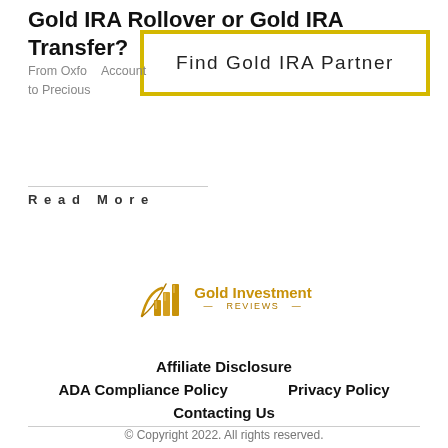Gold IRA Rollover or Gold IRA Transfer?
[Figure (other): Yellow-bordered advertisement box with text 'Find Gold IRA Partner']
From Oxford Account to Precious
Read More
[Figure (logo): Gold Investment Reviews logo with gold bar chart icon and gold text]
Affiliate Disclosure
ADA Compliance Policy    Privacy Policy
Contacting Us
© Copyright 2022. All rights reserved.